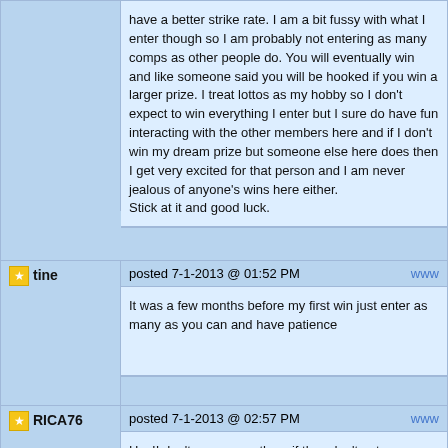have a better strike rate. I am a bit fussy with what I enter though so I am probably not entering as many comps as other people do. You will eventually win and like someone said you will be hooked if you win a larger prize. I treat lottos as my hobby so I don't expect to win everything I enter but I sure do have fun interacting with the other members here and if I don't win my dream prize but someone else here does then I get very excited for that person and I am never jealous of anyone's wins here either.
Stick at it and good luck.
posted 7-1-2013 @ 01:52 PM
tine
It was a few months before my first win just enter as many as you can and have patience
posted 7-1-2013 @ 02:57 PM
RICA76
Hey!! don't encourage them if they don't enter any more there is more chance of us all winning